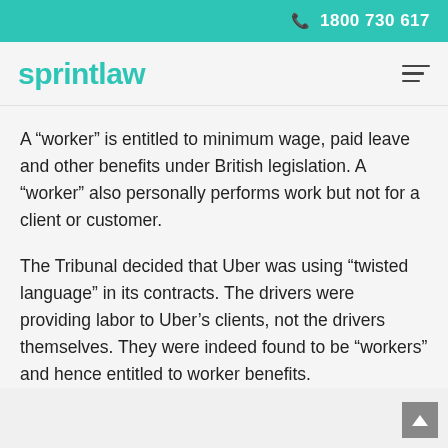📞 1800 730 617
sprintlaw
A “worker” is entitled to minimum wage, paid leave and other benefits under British legislation. A “worker” also personally performs work but not for a client or customer.
The Tribunal decided that Uber was using “twisted language” in its contracts. The drivers were providing labor to Uber’s clients, not the drivers themselves. They were indeed found to be “workers” and hence entitled to worker benefits.